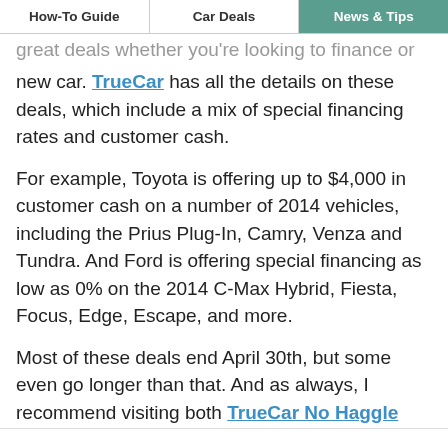How-To Guide | Car Deals | News & Tips
great deals whether you're looking to finance or lease a new car. TrueCar has all the details on these deals, which include a mix of special financing rates and customer cash.
For example, Toyota is offering up to $4,000 in customer cash on a number of 2014 vehicles, including the Prius Plug-In, Camry, Venza and Tundra. And Ford is offering special financing as low as 0% on the 2014 C-Max Hybrid, Fiesta, Focus, Edge, Escape, and more.
Most of these deals end April 30th, but some even go longer than that. And as always, I recommend visiting both TrueCar No Haggle and CarsDirect to get the best deal possible on any of these vehicles.